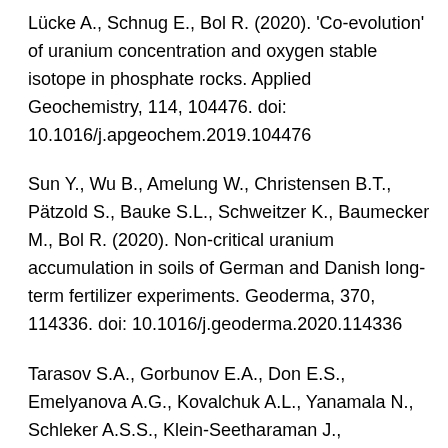Lücke A., Schnug E., Bol R. (2020). 'Co-evolution' of uranium concentration and oxygen stable isotope in phosphate rocks. Applied Geochemistry, 114, 104476. doi: 10.1016/j.apgeochem.2019.104476
Sun Y., Wu B., Amelung W., Christensen B.T., Pätzold S., Bauke S.L., Schweitzer K., Baumecker M., Bol R. (2020). Non-critical uranium accumulation in soils of German and Danish long-term fertilizer experiments. Geoderma, 370, 114336. doi: 10.1016/j.geoderma.2020.114336
Tarasov S.A., Gorbunov E.A., Don E.S., Emelyanova A.G., Kovalchuk A.L., Yanamala N., Schleker A.S.S., Klein-Seetharaman J., Groenestein R., Tafani J.P., van der Meide P., Epstein O.I. (2020). Insights into the Mechanism of Action of Highly Diluted Biologics. The